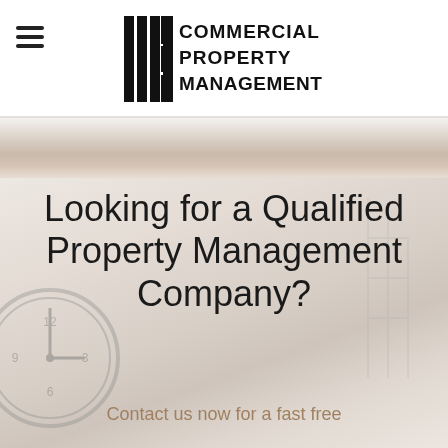[Figure (logo): Commercial Property Management (CPM) logo with vertical bar graphic and bold serif lettering]
Looking for a Qualified Property Management Company?
Contact us now for a fast free